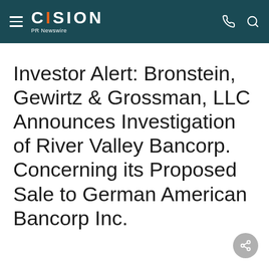CISION PR Newswire
Investor Alert: Bronstein, Gewirtz & Grossman, LLC Announces Investigation of River Valley Bancorp. Concerning its Proposed Sale to German American Bancorp Inc.